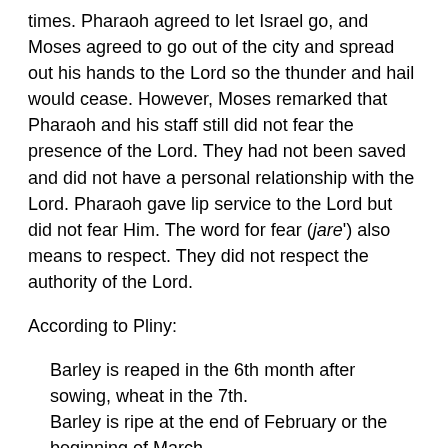times.  Pharaoh agreed to let Israel go, and Moses agreed to go out of the city and spread out his hands to the Lord so the thunder and hail would cease.  However, Moses remarked that Pharaoh and his staff still did not fear the presence of the Lord.  They had not been saved and did not have a personal relationship with the Lord.  Pharaoh gave lip service to the Lord but did not fear Him.  The word for fear (jare') also means to respect.  They did not respect the authority of the Lord.
According to Pliny:
Barley is reaped in the 6th month after sowing, wheat in the 7th.
Barley is ripe at the end of February or the beginning of March.